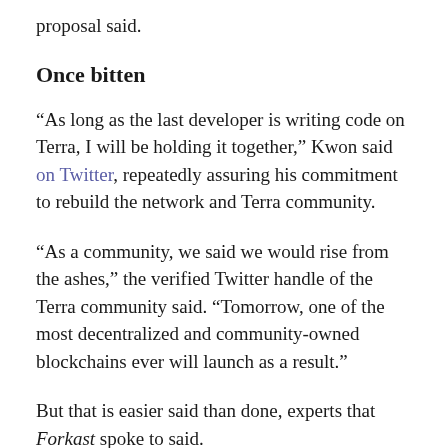proposal said.
Once bitten
“As long as the last developer is writing code on Terra, I will be holding it together,” Kwon said on Twitter, repeatedly assuring his commitment to rebuild the network and Terra community.
“As a community, we said we would rise from the ashes,” the verified Twitter handle of the Terra community said. “Tomorrow, one of the most decentralized and community-owned blockchains ever will launch as a result.”
But that is easier said than done, experts that Forkast spoke to said.